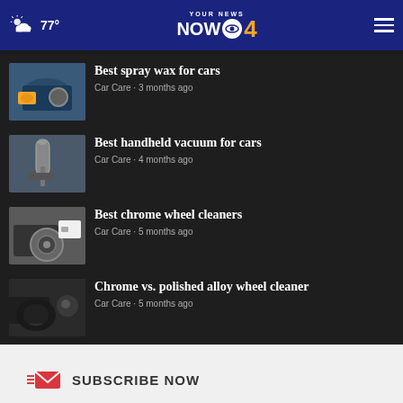77° YOUR NEWS NOW CBS 4
Best spray wax for cars — Car Care • 3 months ago
Best handheld vacuum for cars — Car Care • 4 months ago
Best chrome wheel cleaners — Car Care • 5 months ago
Chrome vs. polished alloy wheel cleaner — Car Care • 5 months ago
SUBSCRIBE NOW